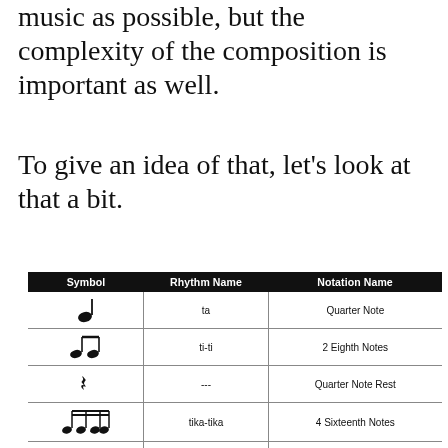music as possible, but the complexity of the composition is important as well.
To give an idea of that, let's look at that a bit.
| Symbol | Rhythm Name | Notation Name |
| --- | --- | --- |
| [quarter note] | ta | Quarter Note |
| [2 eighth notes] | ti-ti | 2 Eighth Notes |
| [quarter rest] | --- | Quarter Note Rest |
| [4 sixteenth notes] | tika-tika | 4 Sixteenth Notes |
| [half note] | too | Half Note |
| [eighth note + 2 sixteenth] | ti-tika | Eighth Note
2 Sixteenth Notes |
| [2 sixteenth + eighth] | tika-ti | 2 Sixteenth Notes
Eighth Note |